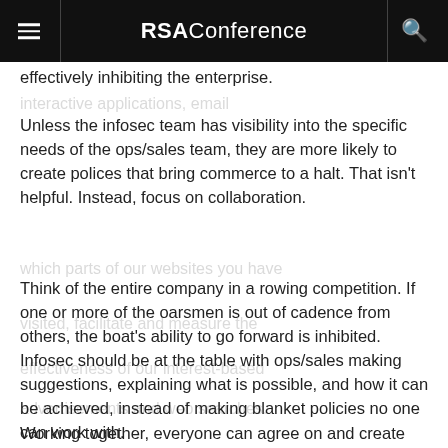RSAConference
effectively inhibiting the enterprise.
Unless the infosec team has visibility into the specific needs of the ops/sales team, they are more likely to create polices that bring commerce to a halt. That isn't helpful. Instead, focus on collaboration.
Think of the entire company in a rowing competition. If one or more of the oarsmen is out of cadence from others, the boat's ability to go forward is inhibited. Infosec should be at the table with ops/sales making suggestions, explaining what is possible, and how it can be achieved, instead of making blanket policies no one can work with.
Working together, everyone can agree on and create relevant policies that expose the company to the least amount of risk. The risks are defined and owned by the